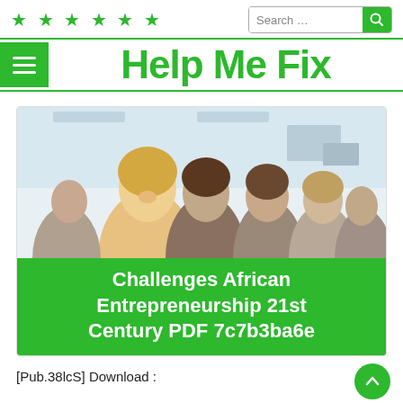★★★★★★  Search ...  🔍
Help Me Fix
[Figure (photo): Group of diverse young people smiling, in a bright office or classroom setting]
Challenges African Entrepreneurship 21st Century PDF 7c7b3ba6e
[Pub.38lcS] Download :